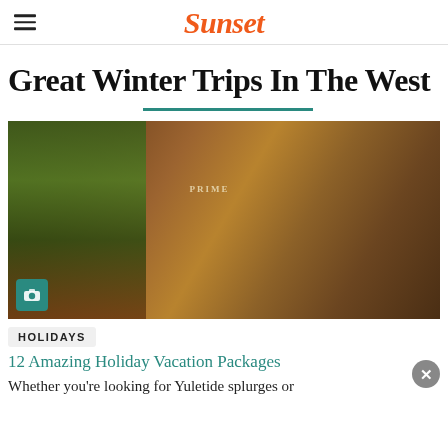Sunset
Great Winter Trips In The West
[Figure (photo): Woman standing in a warmly decorated hotel lobby with a Christmas tree, fireplace with floral arrangement, and elegant furnishings. A 'PRIME' sign is visible in the background.]
HOLIDAYS
12 Amazing Holiday Vacation Packages
Whether you're looking for Yuletide splurges or